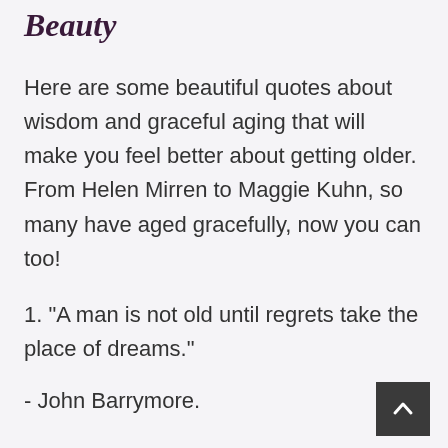Beauty
Here are some beautiful quotes about wisdom and graceful aging that will make you feel better about getting older. From Helen Mirren to Maggie Kuhn, so many have aged gracefully, now you can too!
1. "A man is not old until regrets take the place of dreams."
- John Barrymore.
2.  "Life's tragedy is that we get old too soon and